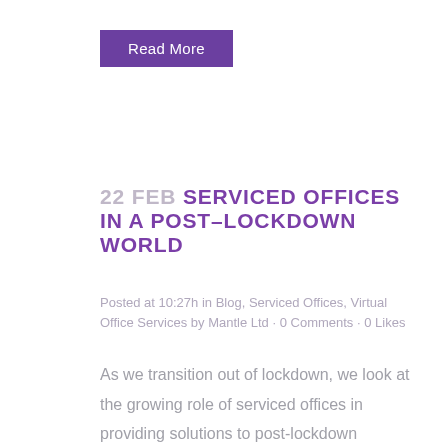Read More
22 FEB SERVICED OFFICES IN A POST–LOCKDOWN WORLD
Posted at 10:27h in Blog, Serviced Offices, Virtual Office Services by Mantle Ltd · 0 Comments · 0 Likes
As we transition out of lockdown, we look at the growing role of serviced offices in providing solutions to post-lockdown working. We have always run an innovative business, constantly adapting to the changing needs of our